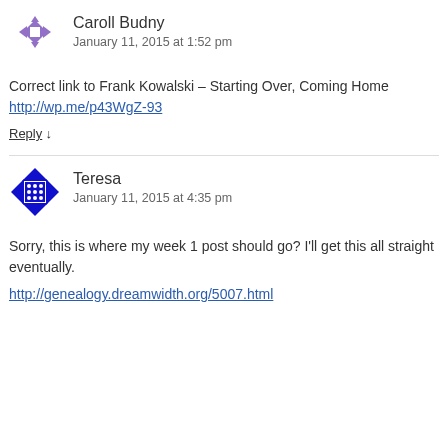[Figure (illustration): Purple geometric avatar/icon for user Caroll Budny]
Caroll Budny
January 11, 2015 at 1:52 pm
Correct link to Frank Kowalski – Starting Over, Coming Home http://wp.me/p43WgZ-93
Reply ↓
[Figure (illustration): Blue geometric avatar/icon for user Teresa]
Teresa
January 11, 2015 at 4:35 pm
Sorry, this is where my week 1 post should go? I'll get this all straight eventually.
http://genealogy.dreamwidth.org/5007.html